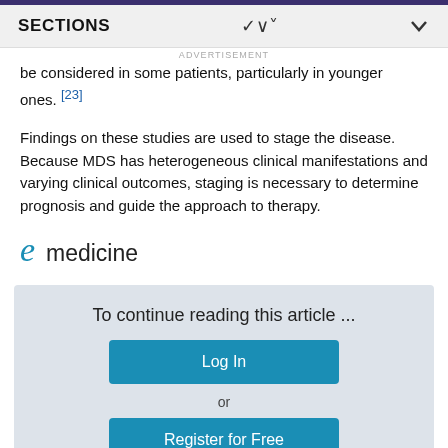SECTIONS
ADVERTISEMENT
be considered in some patients, particularly in younger ones. [23]
Findings on these studies are used to stage the disease. Because MDS has heterogeneous clinical manifestations and varying clinical outcomes, staging is necessary to determine prognosis and guide the approach to therapy.
[Figure (logo): eMedicine logo with stylized 'e' in teal/blue color]
To continue reading this article ...
Log In
or
Register for Free